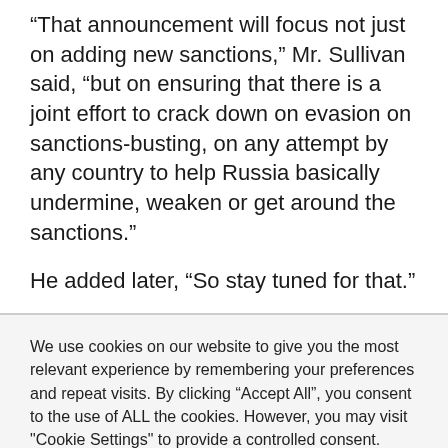“That announcement will focus not just on adding new sanctions,” Mr. Sullivan said, “but on ensuring that there is a joint effort to crack down on evasion on sanctions-busting, on any attempt by any country to help Russia basically undermine, weaken or get around the sanctions.”
He added later, “So stay tuned for that.”
We use cookies on our website to give you the most relevant experience by remembering your preferences and repeat visits. By clicking “Accept All”, you consent to the use of ALL the cookies. However, you may visit "Cookie Settings" to provide a controlled consent.